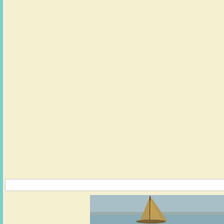delights to pour his love and grace upon you as you pray. during your day to with quiet reminders that he is there. In gladness, he rejoices with you. In your dark valleys of stru you and gives you strength. He will never leave you.
So give thanks for every blessing you can recall and for al Give thanks for God's mercy and for his presence. Yes, gi don't feel it. Give thanks because God is near—in good ti your heart to him, for he is good, and his mercy endures f
"Thank you, Lord, for you are always good."
Acts 4:1-12
John 21:1-14
[Figure (photo): A sailboat with a brown sail on a calm body of water with a low shoreline or island in the background, overcast sky.]